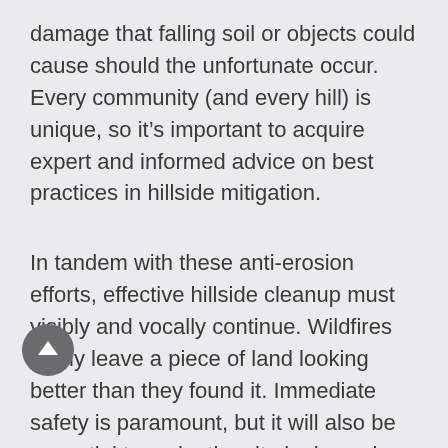damage that falling soil or objects could cause should the unfortunate occur. Every community (and every hill) is unique, so it’s important to acquire expert and informed advice on best practices in hillside mitigation.
In tandem with these anti-erosion efforts, effective hillside cleanup must visibly and vocally continue. Wildfires rarely leave a piece of land looking better than they found it. Immediate safety is paramount, but it will also be essential to make the site look much better (the “hydroseeding” discussed above is one part). This is an important step to signal that a community is returning to “business as usual”